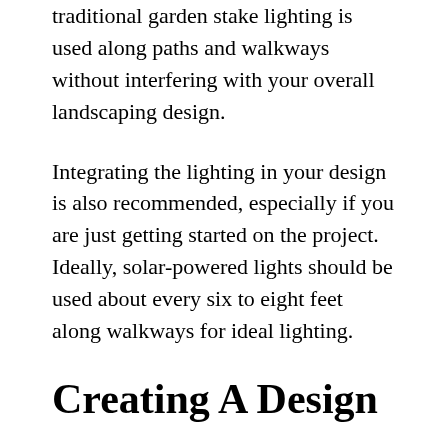traditional garden stake lighting is used along paths and walkways without interfering with your overall landscaping design.
Integrating the lighting in your design is also recommended, especially if you are just getting started on the project. Ideally, solar-powered lights should be used about every six to eight feet along walkways for ideal lighting.
Creating A Design
Lighting your landscape with solar-powered decor is very simple. The lighting is very similar to traditional electricity-powered lights. The only difference between solar power and electric garden lighting is that one built to run on solar power and it also for the...